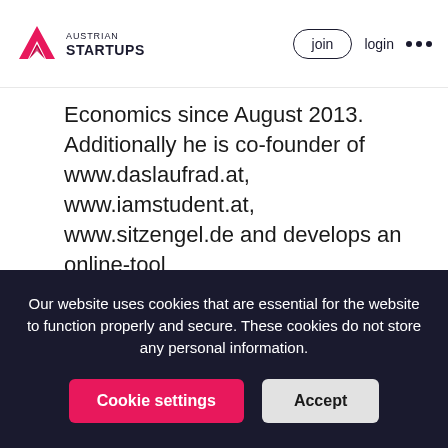Austrian Startups — join | login | ...
Economics since August 2013. Additionally he is co-founder of www.daslaufrad.at, www.iamstudent.at, www.sitzengel.de and develops an online-tool (wwww.whataventure.com) that helps bringing ideas to the market. Before that he was Assistant Professor and founder of the Entrepreneurship Center Network at
Our website uses cookies that are essential for the website to function properly and secure. These cookies do not store any personal information.
Cookie settings | Accept